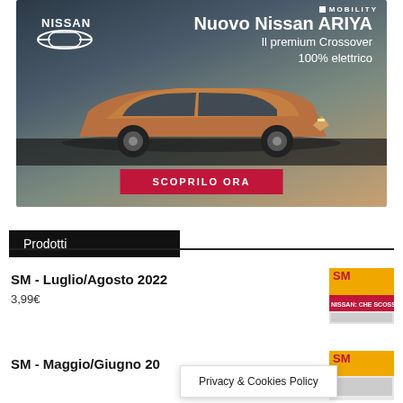[Figure (photo): Nissan ARIYA advertisement banner showing the car on a road with city skyline background. Text: NISSAN, Nuovo Nissan ARIYA, Il premium Crossover 100% elettrico, SCOPRILO ORA button, MOBILITY label.]
Prodotti
SM - Luglio/Agosto 2022
3,99€
[Figure (photo): SM magazine cover thumbnail for Luglio/Agosto 2022 issue showing Nissan CHE SCOSSA headline]
SM - Maggio/Giugno 20
[Figure (photo): SM magazine cover thumbnail for Maggio/Giugno issue]
Privacy & Cookies Policy